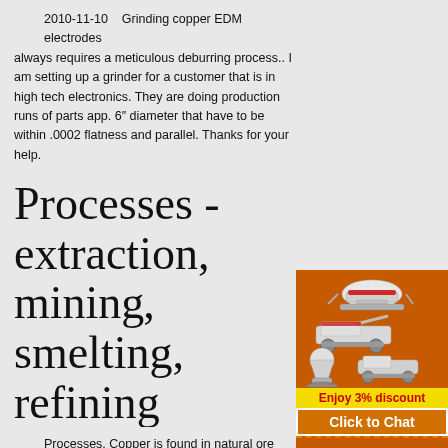2010-11-10   Grinding copper EDM electrodes always requires a meticulous deburring process.. I am setting up a grinder for a customer that is in high tech electronics. They are doing production runs of parts app. 6″ diameter that have to be within .0002 flatness and parallel. Thanks for your help.
Processes - extraction, mining, smelting, refining
Processes. Copper is found in natural ore around the world. This page explains the production route taken from extraction of ore-containing rock to a final product that is the highest-purity commercial metal in existence and used in a wide variety of
[Figure (infographic): Advertisement panel with orange background showing mining machinery images (crusher, conveyor, mill), a yellow 'Enjoy 3% discount' banner, an orange 'Click to Chat' button, an Enquiry section, and contact email limingjlmofen@sina.com]
[PDF]
12.3 Primary Copper